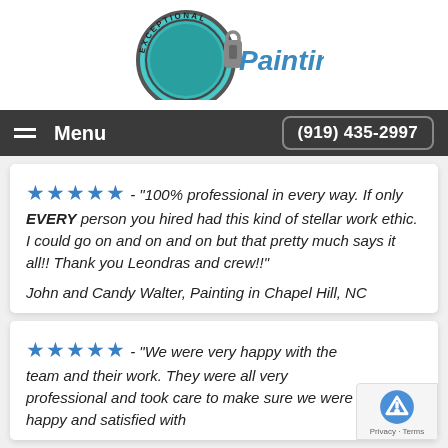[Figure (logo): Exceptional Painting logo with teal circular stamp and text 'Painting']
Menu | (919) 435-2997
★★★★★ - "100% professional in every way. If only EVERY person you hired had this kind of stellar work ethic. I could go on and on and on but that pretty much says it all!! Thank you Leondras and crew!!"
John and Candy Walter, Painting in Chapel Hill, NC
★★★★★ - "We were very happy with the team and their work. They were all very professional and took care to make sure we were happy and satisfied with